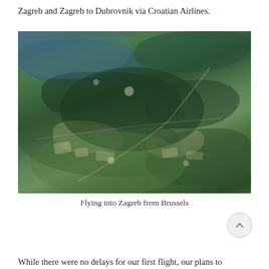Zagreb and Zagreb to Dubrovnik via Croatian Airlines.
[Figure (photo): Aerial photograph taken from an airplane window showing a patchwork of green forests, agricultural fields, and scattered villages in the Croatian countryside, taken while flying into Zagreb from Brussels.]
Flying into Zagreb from Brussels
While there were no delays for our first flight, our plans to